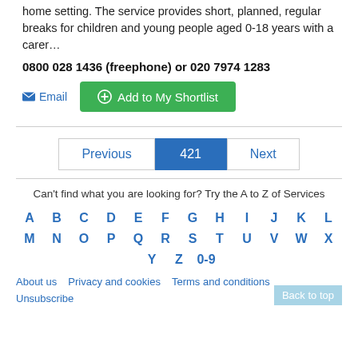home setting. The service provides short, planned, regular breaks for children and young people aged 0-18 years with a carer…
0800 028 1436 (freephone) or 020 7974 1283
Email | Add to My Shortlist
Previous | 421 | Next
Can't find what you are looking for? Try the A to Z of Services
A B C D E F G H I J K L M N O P Q R S T U V W X Y Z 0-9
About us | Privacy and cookies | Terms and conditions | Unsubscribe | Back to top